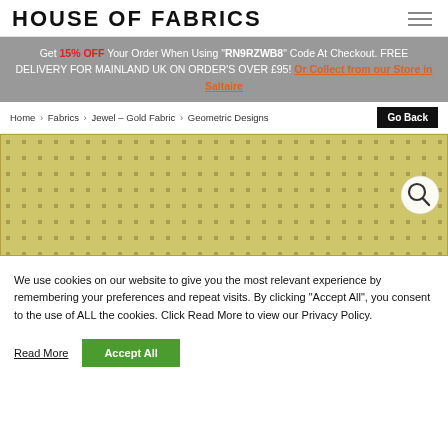HOUSE OF FABRICS
Get 15% OFF Your Order When Using "RN9RZWB8" Code At Checkout. FREE DELIVERY FOR MAINLAND UK ON ORDER'S OVER £95! Or Collect from our Store in Saltaire
Home > Fabrics > Jewel – Gold Fabric > Geometric Designs
[Figure (photo): Close-up photo of a gold/yellow fabric with a small repeating geometric dot/diamond pattern, with a circular magnify icon overlay in the top right.]
We use cookies on our website to give you the most relevant experience by remembering your preferences and repeat visits. By clicking "Accept All", you consent to the use of ALL the cookies. Click Read More to view our Privacy Policy.
Read More  Accept All